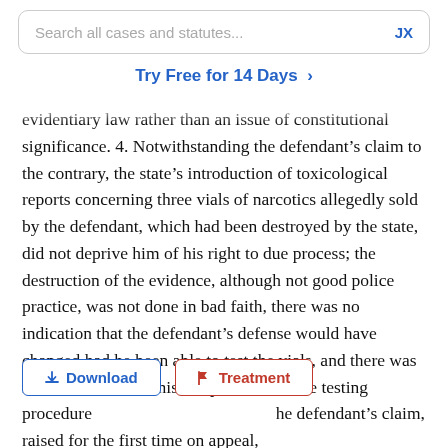Search all cases and statutes... JX
Try Free for 14 Days >
evidentiary law rather than an issue of constitutional significance. 4. Notwithstanding the defendant's claim to the contrary, the state's introduction of toxicological reports concerning three vials of narcotics allegedly sold by the defendant, which had been destroyed by the state, did not deprive him of his right to due process; the destruction of the evidence, although not good police practice, was not done in bad faith, there was no indication that the defendant's defense would have changed had he been able to test the vials, and there was little likelihood of misinterpretation of the testing procedure he defendant's claim, raised for the first time on appeal, that the trial court improperly admitted into evidence...
[Figure (screenshot): Download button (blue outline) and Treatment button (red outline) overlaid on the legal text]